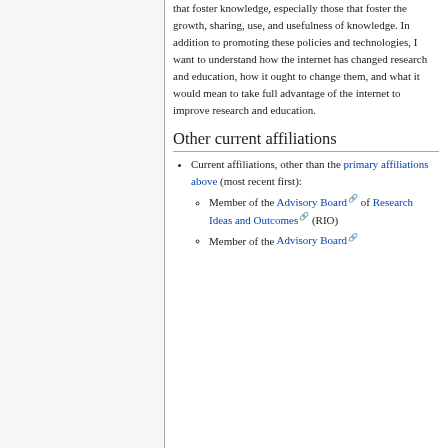that foster knowledge, especially those that foster the growth, sharing, use, and usefulness of knowledge. In addition to promoting these policies and technologies, I want to understand how the internet has changed research and education, how it ought to change them, and what it would mean to take full advantage of the internet to improve research and education.
Other current affiliations
Current affiliations, other than the primary affiliations above (most recent first):
Member of the Advisory Board of Research Ideas and Outcomes (RIO)
Member of the Advisory Board